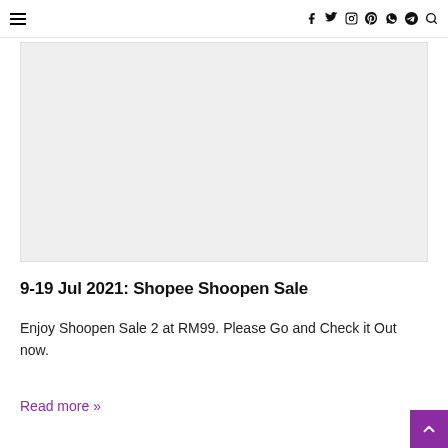≡  f  twitter  instagram  pinterest  whatsapp  telegram  search
[Figure (photo): Gray image placeholder for a Shopee Shoopen Sale promotional image]
9-19 Jul 2021: Shopee Shoopen Sale
Enjoy Shoopen Sale 2 at RM99. Please Go and Check it Out now.
Read more »